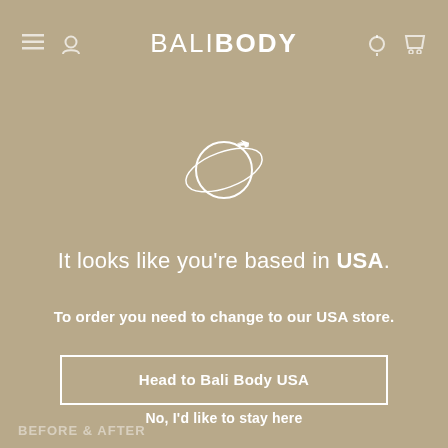BALI BODY
[Figure (illustration): Globe with airplane orbiting around it, drawn in white outline style]
It looks like you're based in USA.
To order you need to change to our USA store.
Head to Bali Body USA
No, I'd like to stay here
BEFORE & AFTER